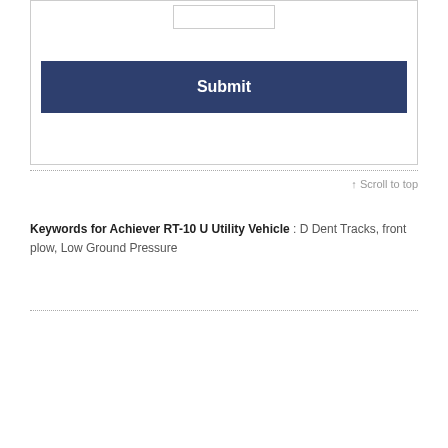[Figure (other): A form box with an input field at top and a dark navy Submit button below it]
↑ Scroll to top
Keywords for Achiever RT-10 U Utility Vehicle : D Dent Tracks, front plow, Low Ground Pressure